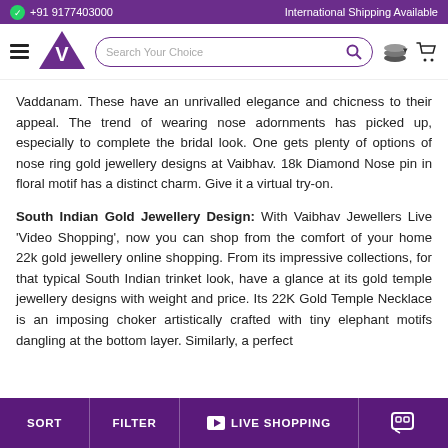+91 9177403000  International Shipping Available
[Figure (logo): Vaibhav Jewellers logo with V monogram in purple triangle, search bar, currency and cart icons]
Vaddanam. These have an unrivalled elegance and chicness to their appeal. The trend of wearing nose adornments has picked up, especially to complete the bridal look. One gets plenty of options of nose ring gold jewellery designs at Vaibhav. 18k Diamond Nose pin in floral motif has a distinct charm. Give it a virtual try-on.
South Indian Gold Jewellery Design: With Vaibhav Jewellers Live 'Video Shopping', now you can shop from the comfort of your home 22k gold jewellery online shopping. From its impressive collections, for that typical South Indian trinket look, have a glance at its gold temple jewellery designs with weight and price. Its 22K Gold Temple Necklace is an imposing choker artistically crafted with tiny elephant motifs dangling at the bottom layer. Similarly, a perfect
SORT   FILTER   LIVE SHOPPING   [chat icon]